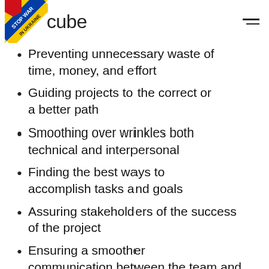cube
Preventing unnecessary waste of time, money, and effort
Guiding projects to the correct or a better path
Smoothing over wrinkles both technical and interpersonal
Finding the best ways to accomplish tasks and goals
Assuring stakeholders of the success of the project
Ensuring a smoother communication between the team and executives